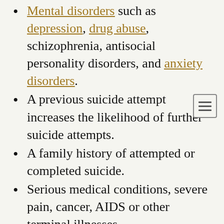Mental disorders such as depression, drug abuse, schizophrenia, antisocial personality disorders, and anxiety disorders.
A previous suicide attempt increases the likelihood of further suicide attempts.
A family history of attempted or completed suicide.
Serious medical conditions, severe pain, cancer, AIDS or other terminal illnesses.
Certain stressful life events such as losing someone close, relationship breakups, child/parental separation.
Stress over a long period due to long-term events such as unemployment, serious relationship problems, bullying, another person's suicide, parental illness or death etc.